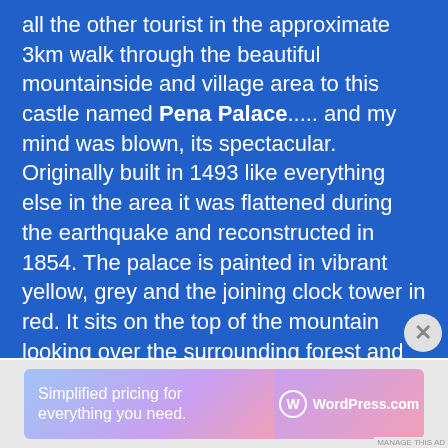all the other tourist in the approximate 3km walk through the beautiful mountainside and village area to this castle named Pena Palace..... and my mind was blown, its spectacular. Originally built in 1493 like everything else in the area it was flattened during the earthquake and reconstructed in 1854. The palace is painted in vibrant yellow, grey and the joining clock tower in red. It sits on the top of the mountain looking over the surrounding forest and countryside below, words can't really describe how impressive and colourful the structure is. The interior was designed for the royal family and the entire complex as well as the park make for an amazing day tour. Not finished I then headed to the Castle of the Moors, more a series of walls than an actual castle, construction was
[Figure (other): WordPress.com advertisement banner with gradient background (blue to pink). Left side: 'Simplified pricing for everything you need.' Right side: WordPress.com logo with W icon.]